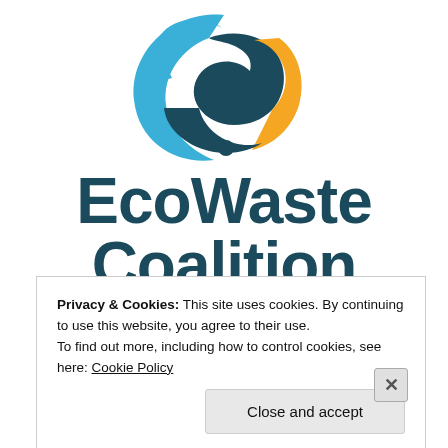[Figure (logo): EcoWaste Coalition logo: circular icon with blue, teal, and orange swirl shapes above bold dark teal text reading 'EcoWaste Coalition']
[Figure (logo): Second logo: three stylized human figures in dark teal with green and orange accents forming a circular arrangement]
Privacy & Cookies: This site uses cookies. By continuing to use this website, you agree to their use.
To find out more, including how to control cookies, see here: Cookie Policy
Close and accept